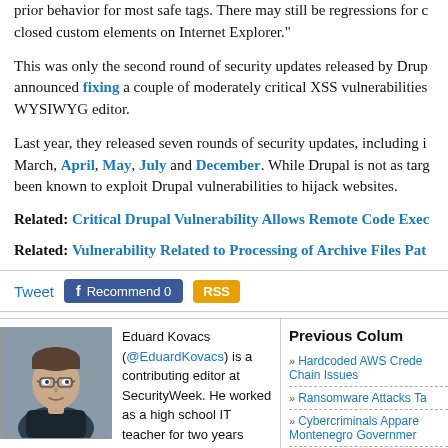prior behavior for most safe tags. There may still be regressions for closed custom elements on Internet Explorer."
This was only the second round of security updates released by Drupal announced fixing a couple of moderately critical XSS vulnerabilities WYSIWYG editor.
Last year, they released seven rounds of security updates, including in March, April, May, July and December. While Drupal is not as targ been known to exploit Drupal vulnerabilities to hijack websites.
Related: Critical Drupal Vulnerability Allows Remote Code Exec
Related: Vulnerability Related to Processing of Archive Files Pat
[Figure (other): Social sharing buttons: Tweet, Facebook Recommend 0, RSS]
[Figure (photo): Headshot photo of Eduard Kovacs]
Eduard Kovacs (@EduardKovacs) is a contributing editor at SecurityWeek. He worked as a high school IT teacher for two years before starting a career in journalism as Softpedia's security news reporter.
Eduard holds a bachelor's degree in industrial informatics and a master's degree in computer techniques applied in
Previous Colum
Hardcoded AWS Crede Chain Issues
Ransomware Attacks Ta
Cybercriminals Apprere Montenegro Governmer
Pwn2Own Offers $100